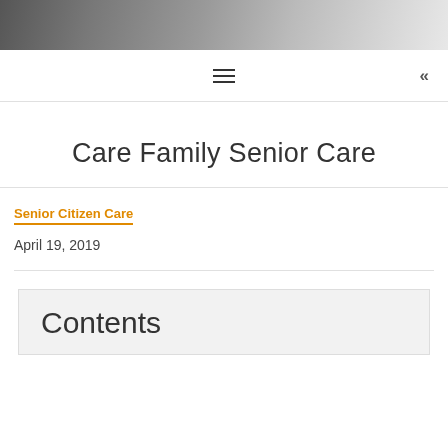[Figure (photo): Partial hero image showing a laptop screen and a smartphone on a desk, cropped at top]
≡  «
Care Family Senior Care
Senior Citizen Care
April 19, 2019
Contents